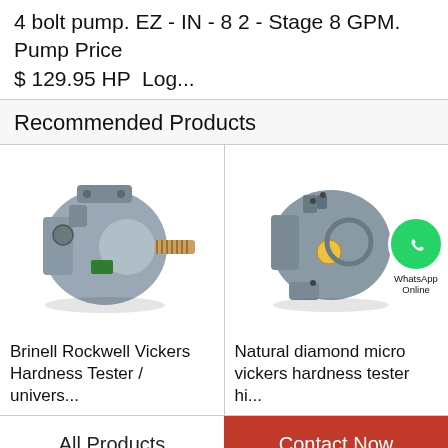4 bolt pump. EZ - IN - 8 2 - Stage 8 GPM. Pump Price $ 129.95 HP  Log...
Recommended Products
[Figure (photo): Hydraulic piston pump, grey metal, with splined shaft output and ports - Brinell Rockwell Vickers Hardness Tester / univers...]
[Figure (photo): Hydraulic piston pump, grey metal, with WhatsApp Online overlay - Natural diamond micro vickers hardness tester hi...]
Brinell Rockwell Vickers Hardness Tester / univers...
Natural diamond micro vickers hardness tester hi...
All Products
Contact Now